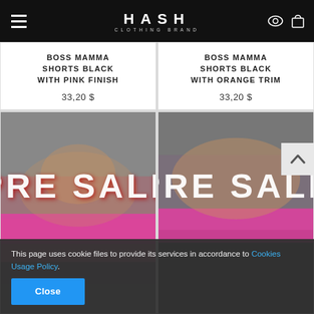HASH CLOTHING BRAND
BOSS MAMMA SHORTS BLACK WITH PINK FINISH
33,20 $
BOSS MAMMA SHORTS BLACK WITH ORANGE TRIM
33,20 $
[Figure (photo): PRE SALE banner on sportswear product - pink and grey athletic shorts]
[Figure (photo): PRE SALE banner on sportswear product - pink athletic wear with tattoo model]
This page uses cookie files to provide its services in accordance to Cookies Usage Policy.
Close